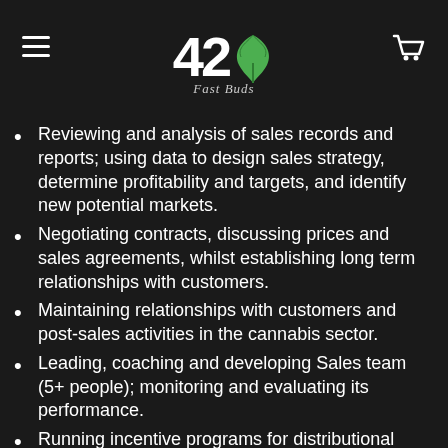42 Fast Buds
Reviewing and analysis of sales records and reports; using data to design sales strategy, determine profitability and targets, and identify new potential markets.
Negotiating contracts, discussing prices and sales agreements, whilst establishing long term relationships with customers.
Maintaining relationships with customers and post-sales activities in the cannabis sector.
Leading, coaching and developing Sales team (5+ people); monitoring and evaluating its performance.
Running incentive programs for distributional partners.
Tracking CRM data and holding team meetings (inhouse and online) to ensure performance and goals are on track with company targets.
Maintaining constant interaction with the Head of Marketing Department to optimize